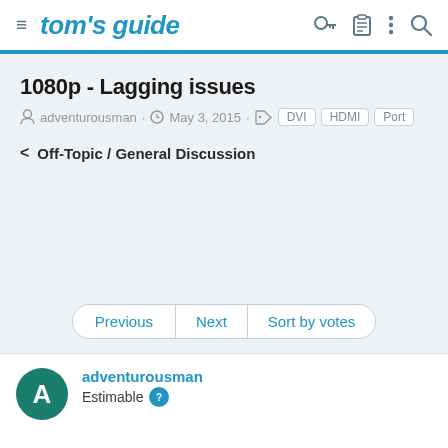tom's guide
1080p - Lagging issues
adventurousman · May 3, 2015 · DVI HDMI Port
< Off-Topic / General Discussion
Previous | Next | Sort by votes
adventurousman
Estimable